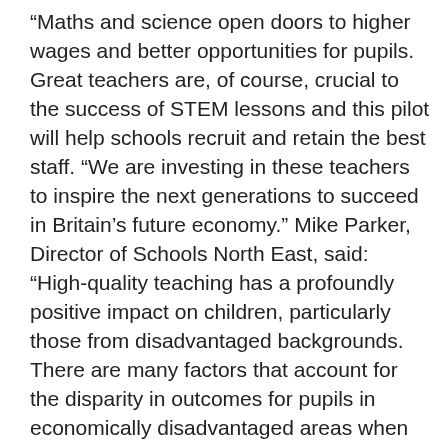“Maths and science open doors to higher wages and better opportunities for pupils. Great teachers are, of course, crucial to the success of STEM lessons and this pilot will help schools recruit and retain the best staff. “We are investing in these teachers to inspire the next generations to succeed in Britain’s future economy.” Mike Parker, Director of Schools North East, said: “High-quality teaching has a profoundly positive impact on children, particularly those from disadvantaged backgrounds. There are many factors that account for the disparity in outcomes for pupils in economically disadvantaged areas when compared with more affluent ones, but the availability and retention of teaching talent is among the greatest. “Physics and maths are vital disciplines for the vibrant and successful sectors that are driving the economy in the North East. Investing in recruitment and retention of teachers is essential not only to the future success of